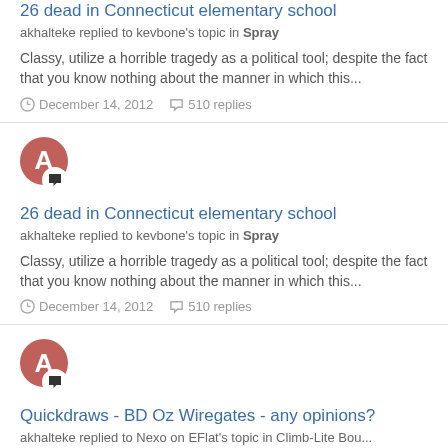26 dead in Connecticut elementary school
akhalteke replied to kevbone's topic in Spray
Classy, utilize a horrible tragedy as a political tool; despite the fact that you know nothing about the manner in which this...
December 14, 2012   510 replies
[Figure (illustration): Avatar circle with letter A and chat badge icon]
26 dead in Connecticut elementary school
akhalteke replied to kevbone's topic in Spray
Classy, utilize a horrible tragedy as a political tool; despite the fact that you know nothing about the manner in which this...
December 14, 2012   510 replies
[Figure (illustration): Avatar circle with letter A and chat badge icon]
Quickdraws - BD Oz Wiregates - any opinions?
akhalteke replied to Nexo on EFlat's topic in Climb-Lite Bou...